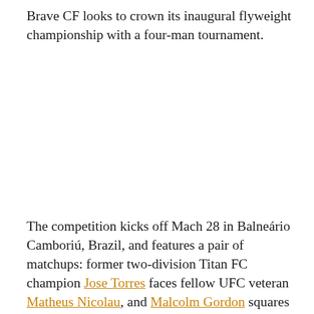Brave CF looks to crown its inaugural flyweight championship with a four-man tournament.
The competition kicks off Mach 28 in Balneário Camboriú, Brazil, and features a pair of matchups: former two-division Titan FC champion Jose Torres faces fellow UFC veteran Matheus Nicolau, and Malcolm Gordon squares off against